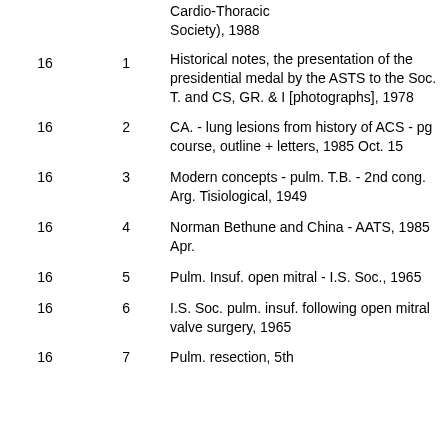|  |  |  | Description |
| --- | --- | --- | --- |
|  |  |  | Cardio-Thoracic Society), 1988 |
| 16 | 1 |  | Historical notes, the presentation of the presidential medal by the ASTS to the Soc. T. and CS, GR. & I [photographs], 1978 |
| 16 | 2 |  | CA. - lung lesions from history of ACS - pg course, outline + letters, 1985 Oct. 15 |
| 16 | 3 |  | Modern concepts - pulm. T.B. - 2nd cong. Arg. Tisiological, 1949 |
| 16 | 4 |  | Norman Bethune and China - AATS, 1985 Apr. |
| 16 | 5 |  | Pulm. Insuf. open mitral - I.S. Soc., 1965 |
| 16 | 6 |  | I.S. Soc. pulm. insuf. following open mitral valve surgery, 1965 |
| 16 | 7 |  | Pulm. resection, 5th... |